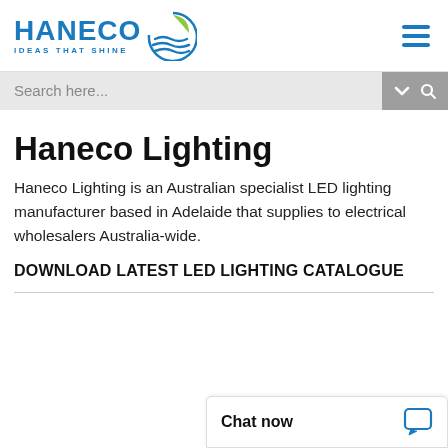[Figure (logo): Haneco logo with text 'HANECO IDEAS THAT SHINE' and a stylized circular icon with blue and green wave lines]
[Figure (other): Hamburger menu icon — three horizontal blue lines]
Search here...
Haneco Lighting
Haneco Lighting is an Australian specialist LED lighting manufacturer based in Adelaide that supplies to electrical wholesalers Australia-wide.
DOWNLOAD LATEST LED LIGHTING CATALOGUE
Chat now